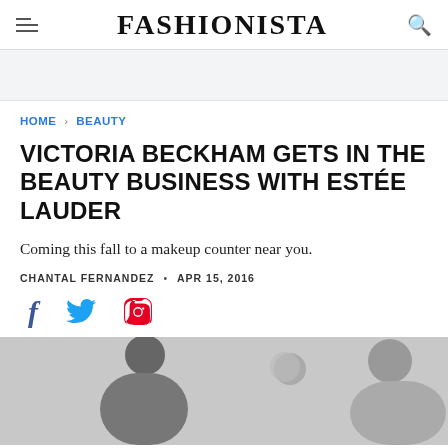FASHIONISTA
HOME > BEAUTY
VICTORIA BECKHAM GETS IN THE BEAUTY BUSINESS WITH ESTÉE LAUDER
Coming this fall to a makeup counter near you.
CHANTAL FERNANDEZ • APR 15, 2016
[Figure (illustration): Social sharing icons: Facebook, Twitter, Pinterest]
[Figure (photo): Partial photo showing silhouettes of people, likely at a fashion event]